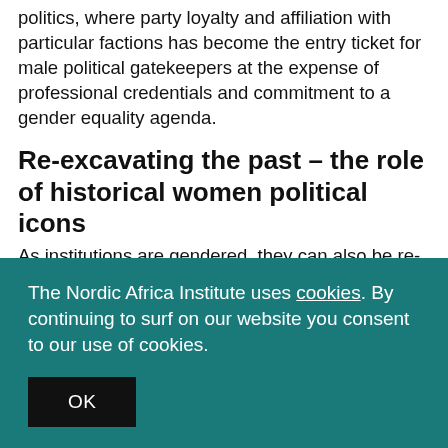politics, where party loyalty and affiliation with particular factions has become the entry ticket for male political gatekeepers at the expense of professional credentials and commitment to a gender equality agenda.
Re-excavating the past – the role of historical women political icons
As institutions are gendered, they can also be re-
The Nordic Africa Institute uses cookies. By continuing to surf on our website you consent to our use of cookies.